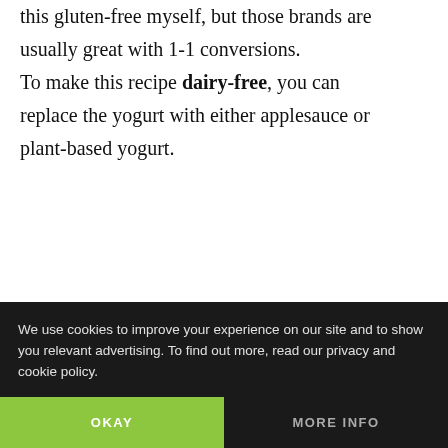this gluten-free myself, but those brands are usually great with 1-1 conversions.
To make this recipe dairy-free, you can replace the yogurt with either applesauce or plant-based yogurt.
We use cookies to improve your experience on our site and to show you relevant advertising. To find out more, read our privacy and cookie policy.